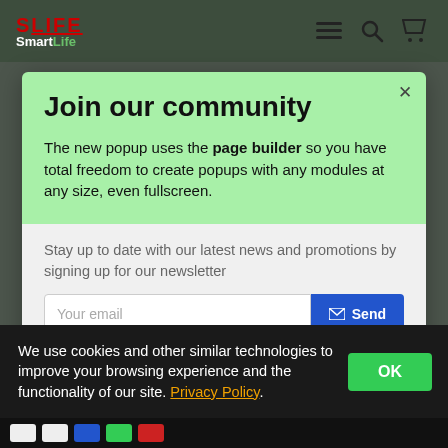SLIFE SmartLife
Join our community
The new popup uses the page builder so you have total freedom to create popups with any modules at any size, even fullscreen.
Stay up to date with our latest news and promotions by signing up for our newsletter
We use cookies and other similar technologies to improve your browsing experience and the functionality of our site. Privacy Policy.